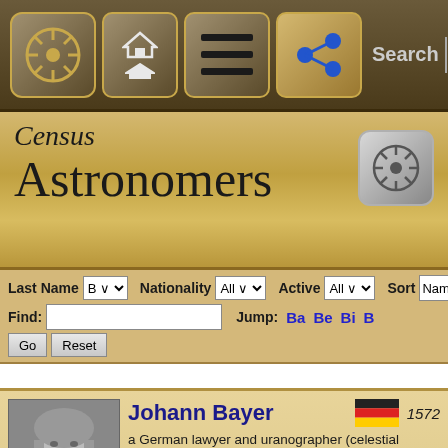Census Astronomers - navigation bar with search
Census
Astronomers
Last Name | Nationality | Active | Sort
Find: [input] Go Reset  Jump: Ba Be Bi B
Johann Bayer — 1572 — a German lawyer and uranographer (celestial cartographer) known for his work in astronomy; particularly for his work on positions of objects on the celestial sphere. Links (1)
Wilhelm Beer — born 1797, Jan — a banker and astronomer from Berlin, Prussia, and the ha...